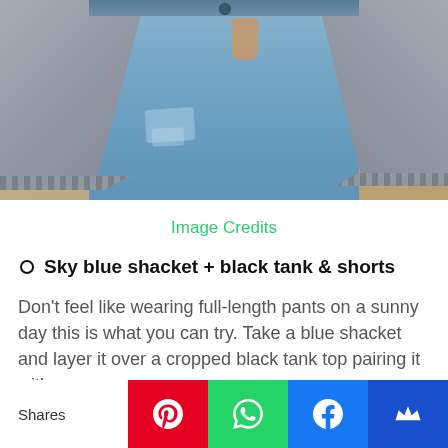[Figure (photo): Close-up of a person wearing distressed light blue jeans with an open gray denim shacket layered over, hand in pocket, warm beige background]
Image Credits
Sky blue shacket + black tank & shorts
Don't feel like wearing full-length pants on a sunny day this is what you can try. Take a blue shacket and layer it over a cropped black tank top pairing it with
Shares | Pinterest | WhatsApp | Facebook | MightyNetworks